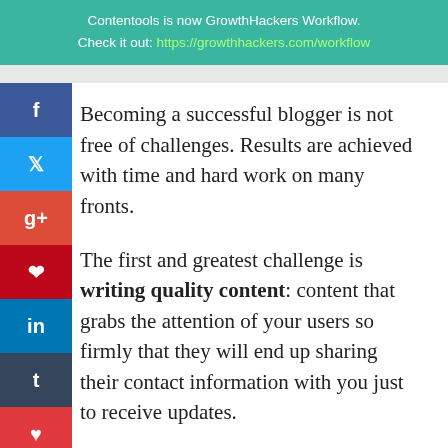Contentools is now GrowthHackers Workflow. Check it out: https://growthhackers.com/workflow
Becoming a successful blogger is not free of challenges. Results are achieved with time and hard work on many fronts.
The first and greatest challenge is writing quality content: content that grabs the attention of your users so firmly that they will end up sharing their contact information with you just to receive updates.
However, once you get a lead, you are faced with